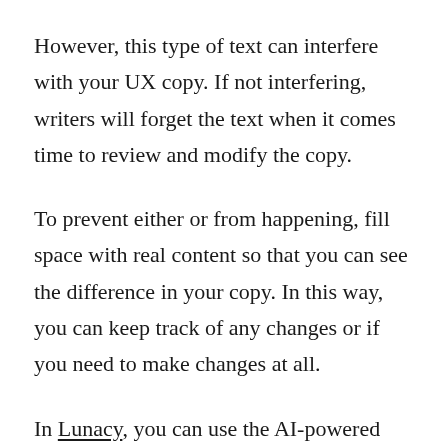However, this type of text can interfere with your UX copy. If not interfering, writers will forget the text when it comes time to review and modify the copy.
To prevent either or from happening, fill space with real content so that you can see the difference in your copy. In this way, you can keep track of any changes or if you need to make changes at all.
In Lunacy, you can use the AI-powered text generation feature to free your head for creative ideas. Select a text block on the canvas, then…